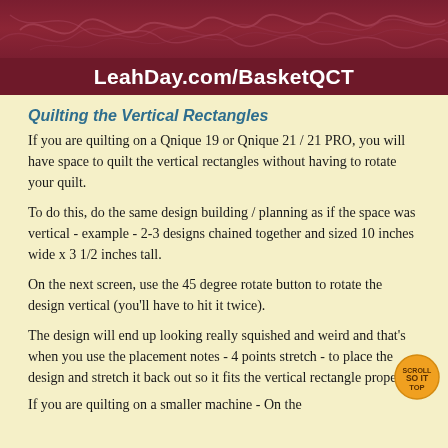[Figure (illustration): Dark maroon/burgundy banner with decorative swirl quilting patterns and a URL bar showing LeahDay.com/BasketQCT in white bold text]
Quilting the Vertical Rectangles
If you are quilting on a Qnique 19 or Qnique 21 / 21 PRO, you will have space to quilt the vertical rectangles without having to rotate your quilt.
To do this, do the same design building / planning as if the space was vertical - example - 2-3 designs chained together and sized 10 inches wide x 3 1/2 inches tall.
On the next screen, use the 45 degree rotate button to rotate the design vertical (you'll have to hit it twice).
The design will end up looking really squished and weird and that's when you use the placement notes - 4 points stretch - to place the design and stretch it back out so it fits the vertical rectangle properly.
If you are quilting on a smaller machine - On the